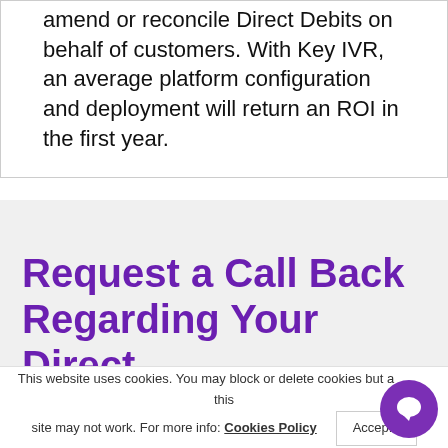amend or reconcile Direct Debits on behalf of customers. With Key IVR, an average platform configuration and deployment will return an ROI in the first year.
Request a Call Back Regarding Your Direct
This website uses cookies. You may block or delete cookies but affects this site may not work. For more info: Cookies Policy Accept...